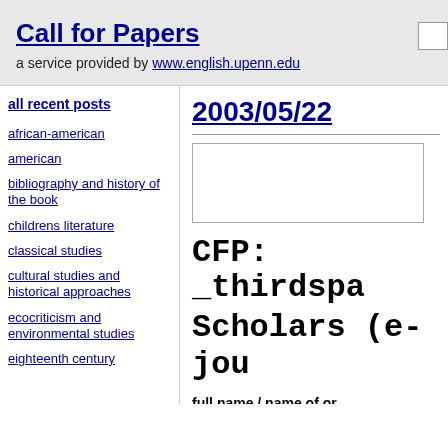Call for Papers
a service provided by www.english.upenn.edu
all recent posts
african-american
american
bibliography and history of the book
childrens literature
classical studies
cultural studies and historical approaches
ecocriticism and environmental studies
eighteenth century
2003/05/22
CFP: _thirdspace_ Graduate Scholars (e-journal)
full name / name of organization
Jessica Blaustein
contact email: